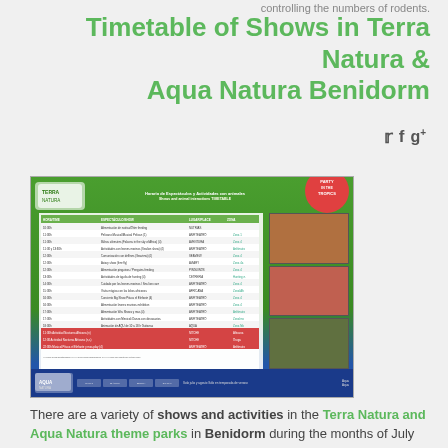controlling the numbers of rodents.
Timetable of Shows in Terra Natura & Aqua Natura Benidorm
[Figure (photo): A timetable/schedule image for Shows and Activities at Terra Natura and Aqua Natura Benidorm parks, showing a schedule table with times and show names, photos of animals and performers on the right side, logos at top and bottom, with green jungle theme background.]
There are a variety of shows and activities in the Terra Natura and Aqua Natura theme parks in Benidorm during the months of July and August 2012.  A sea lion show, the Musical about Pepita the elephant as well as the Mexican